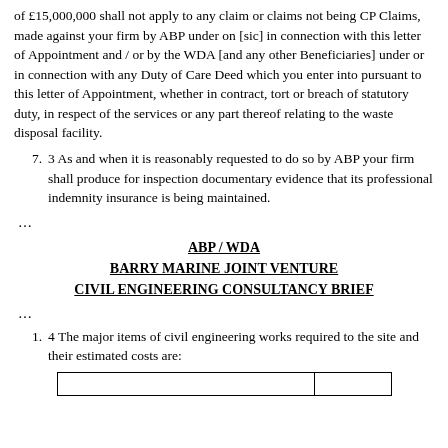of £15,000,000 shall not apply to any claim or claims not being CP Claims, made against your firm by ABP under on [sic] in connection with this letter of Appointment and / or by the WDA [and any other Beneficiaries] under or in connection with any Duty of Care Deed which you enter into pursuant to this letter of Appointment, whether in contract, tort or breach of statutory duty, in respect of the services or any part thereof relating to the waste disposal facility.
7. 3 As and when it is reasonably requested to do so by ABP your firm shall produce for inspection documentary evidence that its professional indemnity insurance is being maintained.
…
ABP / WDA
BARRY MARINE JOINT VENTURE
CIVIL ENGINEERING CONSULTANCY BRIEF
…
1. 4 The major items of civil engineering works required to the site and their estimated costs are:
|  |  |